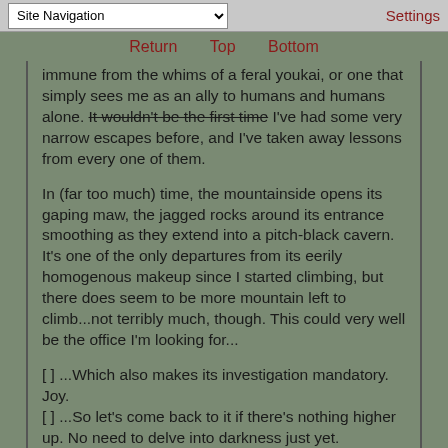Site Navigation | Settings
Return  Top  Bottom
immune from the whims of a feral youkai, or one that simply sees me as an ally to humans and humans alone. It wouldn't be the first time I've had some very narrow escapes before, and I've taken away lessons from every one of them.
In (far too much) time, the mountainside opens its gaping maw, the jagged rocks around its entrance smoothing as they extend into a pitch-black cavern. It's one of the only departures from its eerily homogenous makeup since I started climbing, but there does seem to be more mountain left to climb...not terribly much, though. This could very well be the office I'm looking for...
[ ] ...Which also makes its investigation mandatory. Joy.
[ ] ...So let's come back to it if there's nothing higher up. No need to delve into darkness just yet.
[ ] ...Or it could just be nothing.